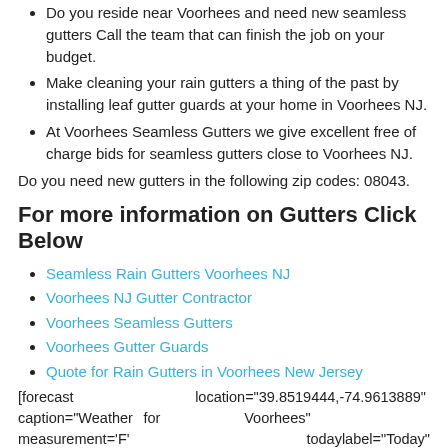Do you reside near Voorhees and need new seamless gutters Call the team that can finish the job on your budget.
Make cleaning your rain gutters a thing of the past by installing leaf gutter guards at your home in Voorhees NJ.
At Voorhees Seamless Gutters we give excellent free of charge bids for seamless gutters close to Voorhees NJ.
Do you need new gutters in the following zip codes: 08043.
For more information on Gutters Click Below
Seamless Rain Gutters Voorhees NJ
Voorhees NJ Gutter Contractor
Voorhees Seamless Gutters
Voorhees Gutter Guards
Quote for Rain Gutters in Voorhees New Jersey
[forecast  location="39.8519444,-74.9613889"  caption="Weather for  Voorhees"  measurement='F'  todaylabel="Today" datelabel="date('m/d/Y')"  highlow='%%high%%°/%%low%%°' numdays="5"  iconset="Contemporary"  class="css_table_class" cache="true" width="100%"]
[Figure (map): Street map showing Voorhees NJ area with GREENTREE label and route markers 30 and 70]